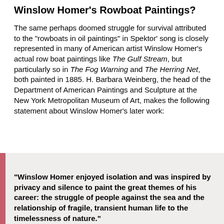Winslow Homer's Rowboat Paintings?
The same perhaps doomed struggle for survival attributed to the "rowboats in oil paintings" in Spektor' song is closely represented in many of American artist Winslow Homer's actual row boat paintings like The Gulf Stream, but particularly so in The Fog Warning and The Herring Net, both painted in 1885. H. Barbara Weinberg, the head of the Department of American Paintings and Sculpture at the New York Metropolitan Museum of Art, makes the following statement about Winslow Homer's later work:
"Winslow Homer enjoyed isolation and was inspired by privacy and silence to paint the great themes of his career: the struggle of people against the sea and the relationship of fragile, transient human life to the timelessness of nature."